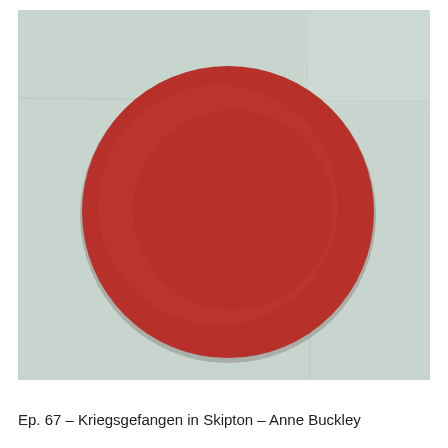[Figure (illustration): A Japanese flag (Hinomaru) showing a white/light green-grey background with a large red circle (disc) painted in the center-lower portion of the flag. The flag appears to be a physical object, slightly aged or worn, with subtle fold lines visible.]
Ep. 67 – Kriegsgefangen in Skipton – Anne Buckley